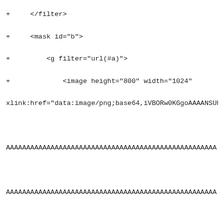+     </filter>
+     <mask id="b">
+         <g filter="url(#a)">
+             <image height="800" width="1024"
xlink:href="data:image/png;base64,iVBORw0KGgoAAAANSUhE

AAAAAAAAAAAAAAAAAAAAAAAAAAAAAAAAAAAAAAAAAAAAAAAAAAAA

AAAAAAAAAAAAAAAAAAAAAAAAAAAAAAAAAAAAAAAAAAAAAAAAAAAA

AAAAAAAAAAAAAAAAAAAAAAAAAAAAAAAAAAAAAAAAAAAAAAAAAAAA

AAAAAAAAAAAAAAAAAAAAAAAAAAAAAAAAAAAAAAAAAAAAAAAAAAAA
+             </g>
+     </mask>
+     <clipPath id="c">
+         <path d="m 0 0 h 1024 v 800 h -1024 z"/>
+     </clipPath>
+     <mask id="d">
+         <g filter="url(#a)">